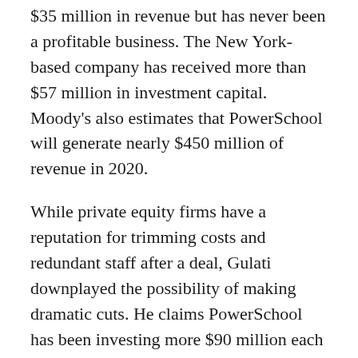$35 million in revenue but has never been a profitable business. The New York-based company has received more than $57 million in investment capital. Moody's also estimates that PowerSchool will generate nearly $450 million of revenue in 2020.
While private equity firms have a reputation for trimming costs and redundant staff after a deal, Gulati downplayed the possibility of making dramatic cuts. He claims PowerSchool has been investing more $90 million each year on research and development across all its previous products—a figure that will now exceed $100 million with Schoology in the fold.
The next step should be a familiar one for Gulati's team: making sure that the new piece snaps together